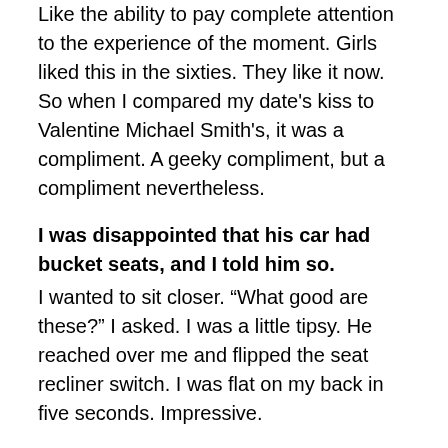Like the ability to pay complete attention to the experience of the moment. Girls liked this in the sixties. They like it now. So when I compared my date's kiss to Valentine Michael Smith's, it was a compliment. A geeky compliment, but a compliment nevertheless.
I was disappointed that his car had bucket seats, and I told him so.
I wanted to sit closer. “What good are these?” I asked. I was a little tipsy. He reached over me and flipped the seat recliner switch. I was flat on my back in five seconds. Impressive.
We met in graduate school, at an English teacher training, where we discovered both of us had been in the same play, John Guaré’s House of Blue Leaves, in our respective undergraduate colleges. He played Artie Shaughnessy, a zookeeper whose true vocation (he